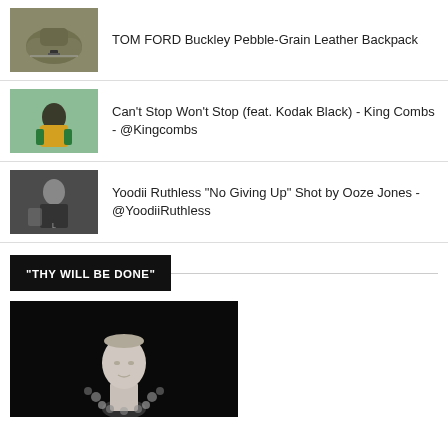TOM FORD Buckley Pebble-Grain Leather Backpack
Can't Stop Won't Stop (feat. Kodak Black) - King Combs - @Kingcombs
Yoodii Ruthless "No Giving Up" Shot by Ooze Jones - @YoodiiRuthless
"THY WILL BE DONE"
[Figure (photo): Dark background with a white classical bust sculpture decorated with coins or jewels]